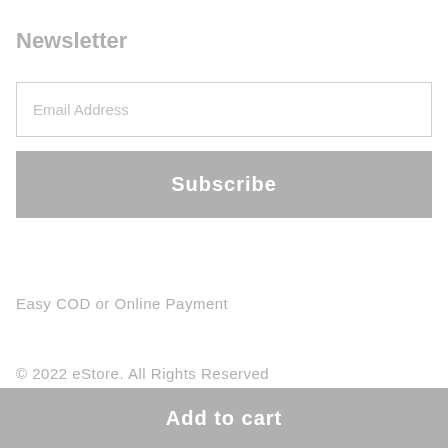Newsletter
Email Address
Subscribe
Easy COD or Online Payment
© 2022 eStore. All Rights Reserved
Add to cart